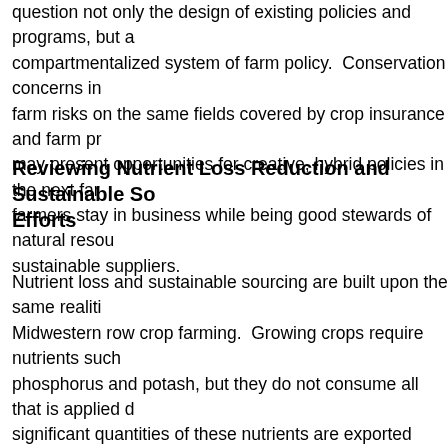question not only the design of existing policies and programs, but also the compartmentalized system of farm policy. Conservation concerns involving farm risks on the same fields covered by crop insurance and farm programs may present opportunities for creative, hybrid policies in the next farm bill that farmers stay in business while being good stewards of natural resources and sustainable suppliers.
Reviewing Nutrient Loss Reduction and Sustainable Sourcing Efforts
Nutrient loss and sustainable sourcing are built upon the same realities of Midwestern row crop farming. Growing crops require nutrients such as phosphorus and potash, but they do not consume all that is applied during significant quantities of these nutrients are exported from farm fields through soils into drainage tiles by water (Cameron 2013; Ribaudo et al.; Royer et al., 2006; Kladivko et al., 2004). Nutrient loss is largely a function of weather, especially rain. As large concentrations of these exported nutrients collect in water bodies, they can cause hypoxia or dead zones such as the Gulf of Mexico (Petrolia and Gowda, 2006; Rabalais et al., 2002). also contaminate drinking water supplies requiring expensive removal or treatment efforts by municipal suppliers that are required to meet sta